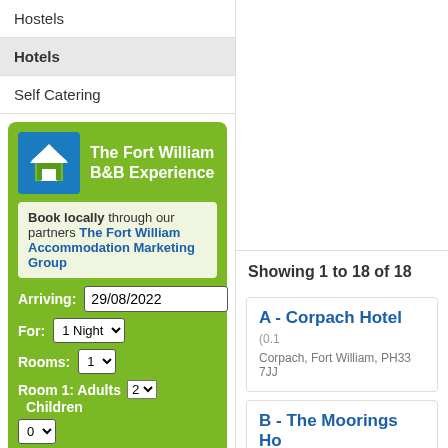Hostels
Hotels
Self Catering
[Figure (logo): The Fort William B&B Experience logo - blue square with white house icon]
The Fort William B&B Experience
Book locally through our partners The Fort William Accommodation Marketing Group
Arriving: 29/08/2022
For: 1 Night
Rooms: 1
Room 1: Adults 2 Children 0
Search Accommodation
Showing 1 to 18 of 18
A - Corpach Hotel (0.1 Corpach, Fort William, PH33 7JJ
B - The Moorings Ho Banavie, Fort William, PH33 7LY From £120.00 (per room)*